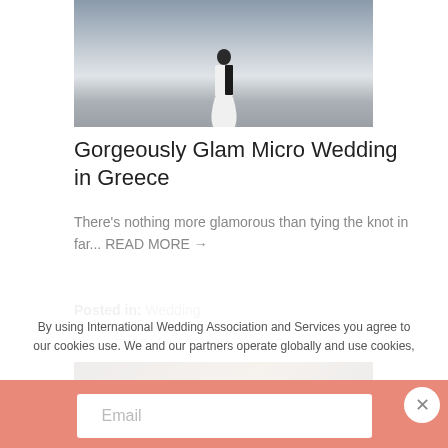[Figure (photo): Wedding couple photo at top of article, partially cropped, showing bride and groom near a pool or terrace]
Gorgeously Glam Micro Wedding in Greece
There's nothing more glamorous than tying the knot in far... READ MORE →
Posted in: Wedding
[Figure (photo): Partial bottom photo, dark brown tones, beginning of another article image]
By using International Wedding Association and Services you agree to our cookies use. We and our partners operate globally and use cookies,
Email
Subscribe